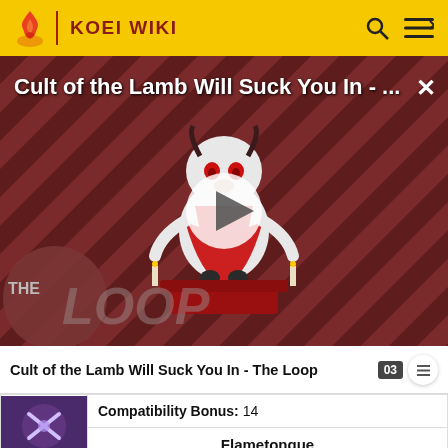KOEI WIKI
[Figure (screenshot): Video thumbnail for 'Cult of the Lamb Will Suck You In - The Loop' showing a cartoon lamb character with a diagonal stripe background and The Loop logo overlay, with a play button in the center.]
Cult of the Lamb Will Suck You In - The Loop
| Image | Details |
| --- | --- |
| [item image] | Compatibility Bonus: 14 |
|  | Flametongue |